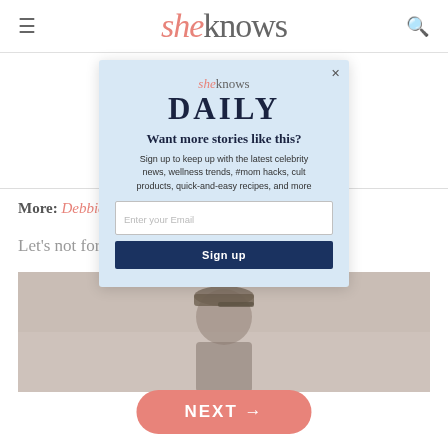sheknows
More: Debbie ... or bullies
Let's not forge ... nolds.
[Figure (photo): Man wearing a camouflage cap in a blurred indoor background]
[Figure (screenshot): SheKnows Daily newsletter signup modal with email input and Sign up button]
NEXT →